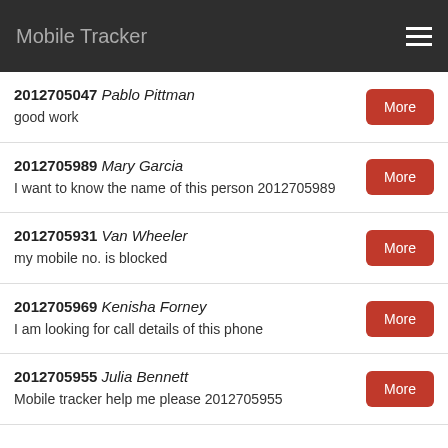Mobile Tracker
2012705047 Pablo Pittman
good work
2012705989 Mary Garcia
I want to know the name of this person 2012705989
2012705931 Van Wheeler
my mobile no. is blocked
2012705969 Kenisha Forney
I am looking for call details of this phone
2012705955 Julia Bennett
Mobile tracker help me please 2012705955